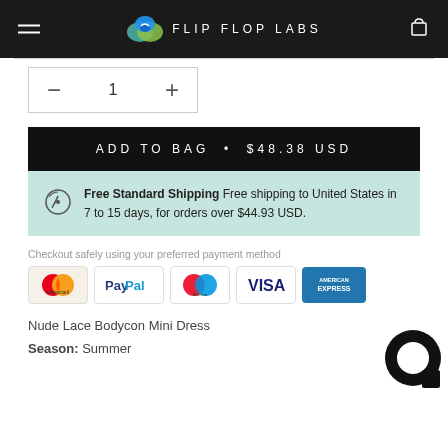FLIP FLOP LABS
1 (quantity selector)
ADD TO BAG • $48.38 USD
Free Standard Shipping Free shipping to United States in 7 to 15 days, for orders over $44.93 USD.
Checkout safely using your preferred payment method
[Figure (other): Payment method icons: Mastercard, PayPal, Maestro, Visa, American Express]
Nude Lace Bodycon Mini Dress
Season: Summer